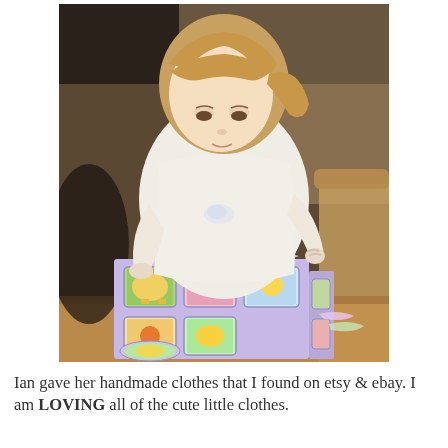[Figure (photo): A young girl with blonde hair and bangs, wearing a white long-sleeve top, sitting at a wooden table and unwrapping a gift covered in colorful Winnie-the-Pooh wrapping paper.]
Ian gave her handmade clothes that I found on etsy & ebay. I am LOVING all of the cute little clothes.